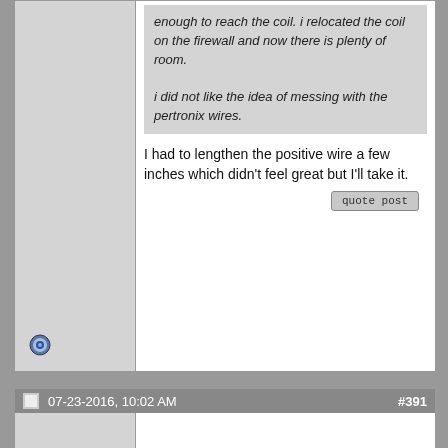enough to reach the coil. i relocated the coil on the firewall and now there is plenty of room.

i did not like the idea of messing with the pertronix wires.
I had to lengthen the positive wire a few inches which didn't feel great but I'll take it.
quote post
07-23-2016, 10:02 AM
#391